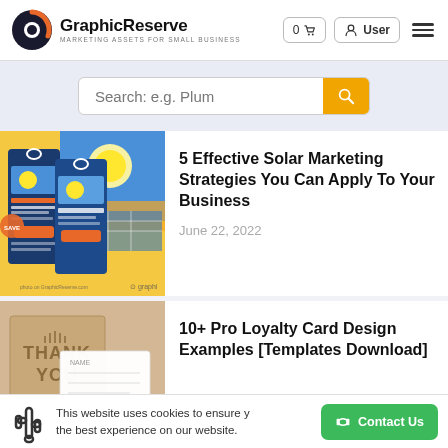GraphicReserve — MARKETING ASSETS FOR SMALL BUSINESS
Search: e.g. Plum
5 Effective Solar Marketing Strategies You Can Apply To Your Business
June 22, 2022
[Figure (photo): Solar marketing door hanger cards on yellow background with sun and solar panels imagery]
10+ Pro Loyalty Card Design Examples [Templates Download]
[Figure (photo): Kraft paper Thank You loyalty card and white business card on neutral background]
This website uses cookies to ensure you get the best experience on our website.